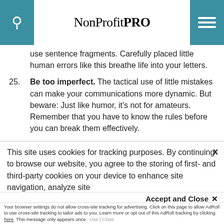NonProfit PRO
use sentence fragments. Carefully placed little human errors like this breathe life into your letters.
25. Be too imperfect. The tactical use of little mistakes can make your communications more dynamic. But beware: Just like humor, it's not for amateurs. Remember that you have to know the rules before you can break them effectively.
This site uses cookies for tracking purposes. By continuing to browse our website, you agree to the storing of first- and third-party cookies on your device to enhance site navigation, analyze site usage, and assist in our marketing and
Accept and Close ✕
Your browser settings do not allow cross-site tracking for advertising. Click on this page to allow AdRoll to use cross-site tracking to tailor ads to you. Learn more or opt out of this AdRoll tracking by clicking here. This message only appears once.